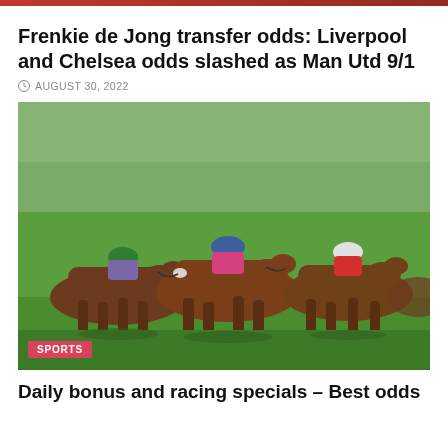Frenkie de Jong transfer odds: Liverpool and Chelsea odds slashed as Man Utd 9/1
AUGUST 30, 2022
[Figure (photo): Horse racing photo showing multiple jockeys on horseback in a race, wearing colourful silks (green, blue/pink, white/red). Green grass track visible.]
SPORTS
Daily bonus and racing specials – Best odds